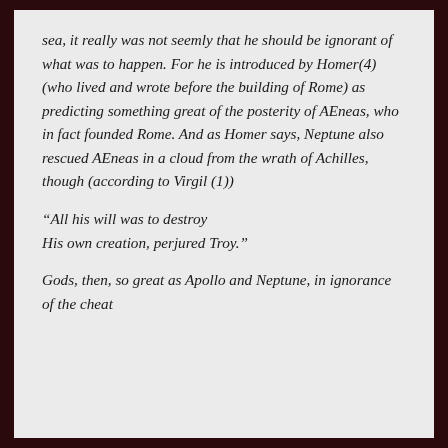sea, it really was not seemly that he should be ignorant of what was to happen. For he is introduced by Homer(4) (who lived and wrote before the building of Rome) as predicting something great of the posterity of AEneas, who in fact founded Rome. And as Homer says, Neptune also rescued AEneas in a cloud from the wrath of Achilles, though (according to Virgil (1))
“All his will was to destroy His own creation, perjured Troy.”
Gods, then, so great as Apollo and Neptune, in ignorance of the cheat